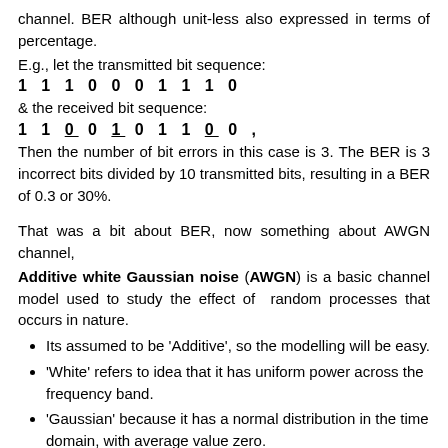channel. BER although unit-less also expressed in terms of percentage.
E.g., let the transmitted bit sequence:
1 1 1 0 0 0 1 1 1 0
& the received bit sequence:
1 1 0 0 1 0 1 1 0 0 ,
Then the number of bit errors in this case is 3. The BER is 3 incorrect bits divided by 10 transmitted bits, resulting in a BER of 0.3 or 30%.
That was a bit about BER, now something about AWGN channel,
Additive white Gaussian noise (AWGN) is a basic channel model used to study the effect of random processes that occurs in nature.
Its assumed to be 'Additive', so the modelling will be easy.
'White' refers to idea that it has uniform power across the frequency band.
'Gaussian' because it has a normal distribution in the time domain, with average value zero.